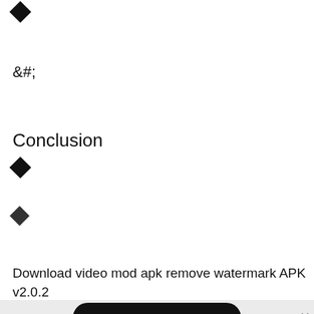◆
&#;
Conclusion
◆
◆
Download video mod apk remove watermark APK v2.0.2 (MOD, Unlocked All Pack/No Watermark)
[Figure (screenshot): Download button pill with text 'DOWNLOAD 196MMB' and a close X button on the right]